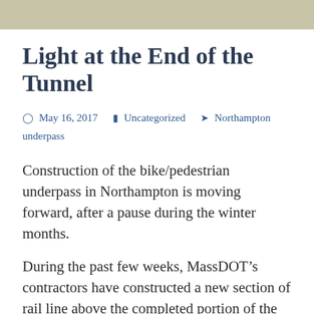Light at the End of the Tunnel
May 16, 2017   Uncategorized   Northampton underpass
Construction of the bike/pedestrian underpass in Northampton is moving forward, after a pause during the winter months.
During the past few weeks, MassDOT’s contractors have constructed a new section of rail line above the completed portion of the underpass. The new section of track was then cut in to the